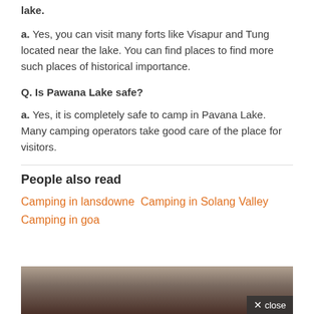lake.
a. Yes, you can visit many forts like Visapur and Tung located near the lake. You can find places to find more such places of historical importance.
Q. Is Pawana Lake safe?
a. Yes, it is completely safe to camp in Pavana Lake. Many camping operators take good care of the place for visitors.
People also read
Camping in lansdowne Camping in Solang Valley Camping in goa
[Figure (photo): Partial photo of a person, appears to be a woman with dark hair, bottom portion of image visible]